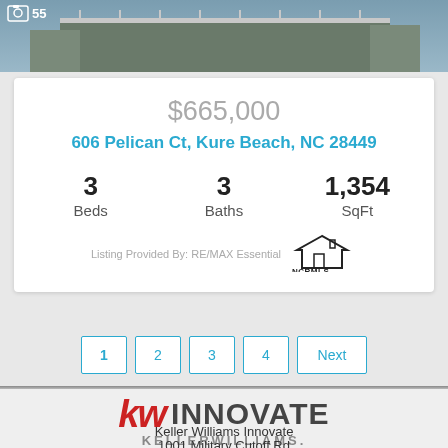[Figure (photo): Aerial or exterior photo of a beach house property, partially visible at top of page. A camera icon and number 55 visible in top left corner.]
$665,000
606 Pelican Ct, Kure Beach, NC 28449
3 Beds  3 Baths  1,354 SqFt
Listing Provided By: RE/MAX Essential
[Figure (logo): NCRMLS logo - North Carolina Regional Multiple Listing Service]
1  2  3  4  Next
[Figure (logo): Keller Williams Innovate logo - kw INNOVATE KELLERWILLIAMS.]
Keller Williams Innovate
1001 Military Cutoff Rd